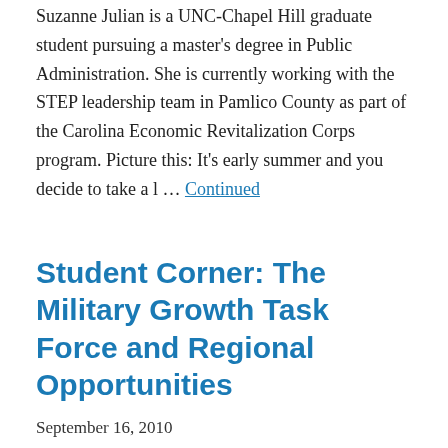Suzanne Julian is a UNC-Chapel Hill graduate student pursuing a master's degree in Public Administration. She is currently working with the STEP leadership team in Pamlico County as part of the Carolina Economic Revitalization Corps program. Picture this: It's early summer and you decide to take a l … Continued
Student Corner: The Military Growth Task Force and Regional Opportunities
September 16, 2010
Suzanne Julian is a UNC-Chapel Hill graduate student pursuing a master's degree in Public Administration. She is currently working with the STEP leadership team in Pamlico County as part of the Carolina Economic Revitalization